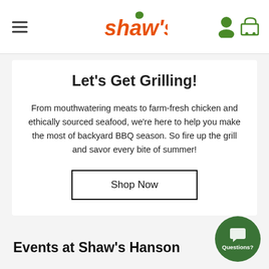Shaw's navigation header with hamburger menu, Shaw's logo, and user/cart icons
Let's Get Grilling!
From mouthwatering meats to farm-fresh chicken and ethically sourced seafood, we're here to help you make the most of backyard BBQ season. So fire up the grill and savor every bite of summer!
Shop Now
Events at Shaw's Hanson